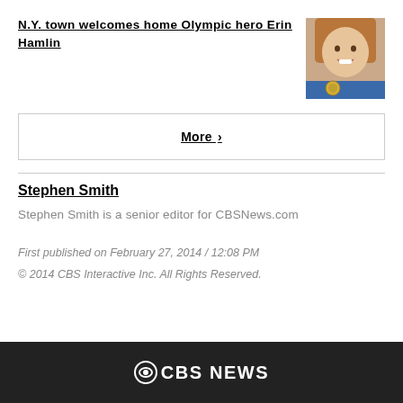N.Y. town welcomes home Olympic hero Erin Hamlin
[Figure (photo): Photo thumbnail of Erin Hamlin smiling, holding a medal]
More  ›
Stephen Smith
Stephen Smith is a senior editor for CBSNews.com
First published on February 27, 2014 / 12:08 PM
© 2014 CBS Interactive Inc. All Rights Reserved.
CBS NEWS